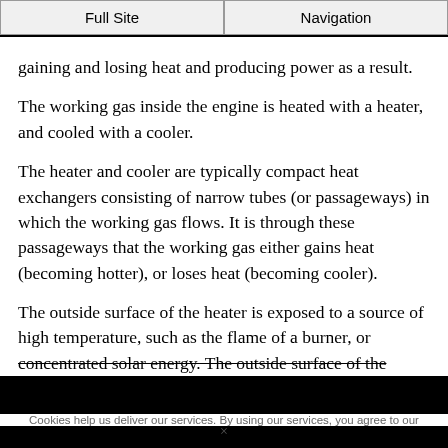Full Site | Navigation
gaining and losing heat and producing power as a result.
The working gas inside the engine is heated with a heater, and cooled with a cooler.
The heater and cooler are typically compact heat exchangers consisting of narrow tubes (or passageways) in which the working gas flows. It is through these passageways that the working gas either gains heat (becoming hotter), or loses heat (becoming cooler).
The outside surface of the heater is exposed to a source of high temperature, such as the flame of a burner, or concentrated solar energy. The outside surface of the
Cookies help us deliver our services. By using our services, you agree to our